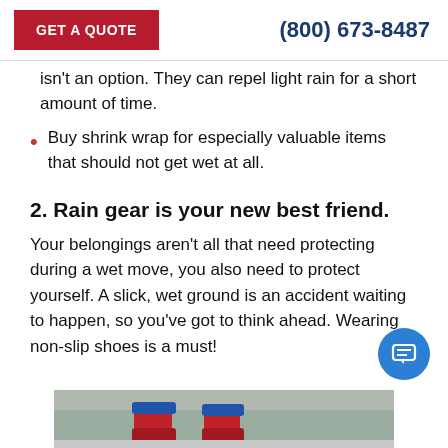GET A QUOTE | (800) 673-8487
isn't an option. They can repel light rain for a short amount of time.
Buy shrink wrap for especially valuable items that should not get wet at all.
2. Rain gear is your new best friend.
Your belongings aren't all that need protecting during a wet move, you also need to protect yourself. A slick, wet ground is an accident waiting to happen, so you've got to think ahead. Wearing non-slip shoes is a must!
[Figure (photo): Photo of red rain boots on a wet surface]